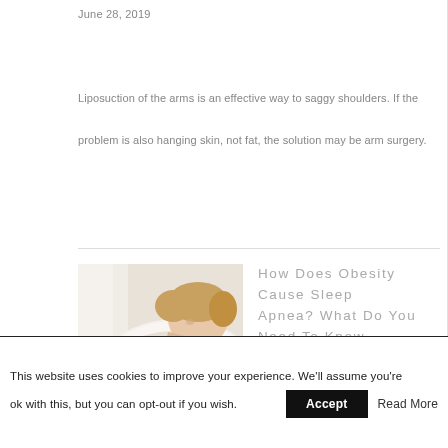June 28, 2019
Liposuction of the arms is an effective way to saggy shoulders. If the problem is also hanging skin, not fat, the solution may be arm surgery.
[Figure (photo): A person with curly hair sleeping or resting with head on arm, wearing white clothing]
How Does Obesity Cause Sleep Apnea? What Do You Need To Know
In Health and Wellness
July 12, 2021
In adults, the most common reason for sleep apnea is excess weight and
This website uses cookies to improve your experience. We'll assume you're ok with this, but you can opt-out if you wish.
Accept
Read More